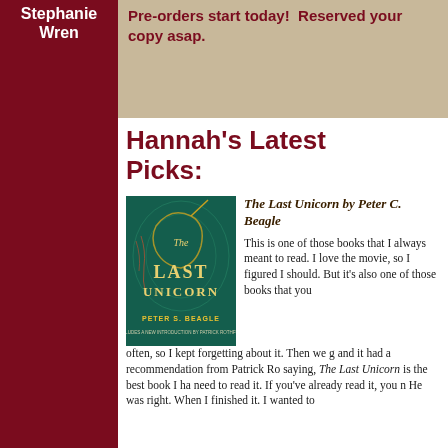Stephanie Wren
Pre-orders start today!  Reserved your copy asap.
Hannah's Latest Picks:
[Figure (photo): Book cover of The Last Unicorn by Peter S. Beagle — teal/green cover with illustrated unicorn head and decorative motifs, yellow title text]
The Last Unicorn by Peter C. Beagle
This is one of those books that I always meant to read. I love the movie, so I figured I should. But it's also one of those books that you often, so I kept forgetting about it. Then we g and it had a recommendation from Patrick Ro saying, The Last Unicorn is the best book I ha need to read it. If you've already read it, you n He was right. When I finished it. I wanted to